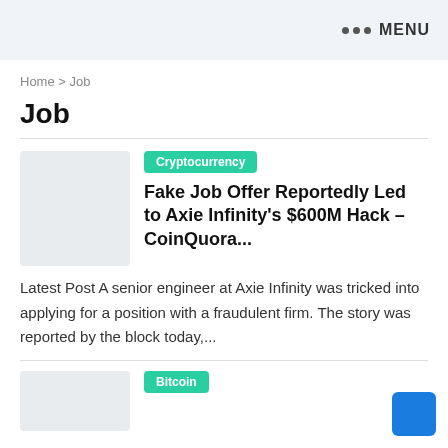••• MENU
Home > Job
Job
Cryptocurrency
Fake Job Offer Reportedly Led to Axie Infinity's $600M Hack – CoinQuora...
Latest Post A senior engineer at Axie Infinity was tricked into applying for a position with a fraudulent firm. The story was reported by the block today,...
Bitcoin